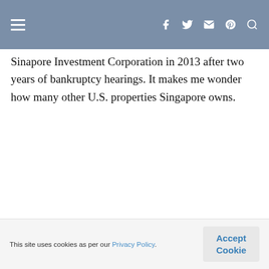Navigation bar with hamburger menu and social icons (f, Twitter, Instagram, Pinterest, Search)
Sinapore Investment Corporation in 2013 after two years of bankruptcy hearings. It makes me wonder how many other U.S. properties Singapore owns.
BILLIE
August 28, 2016 at 1:15 pm
A lot of Asian tourists are coming to the US and Asia is investing in hotels here. Rosewood is now owned by a
This site uses cookies as per our Privacy Policy. Accept Cookie